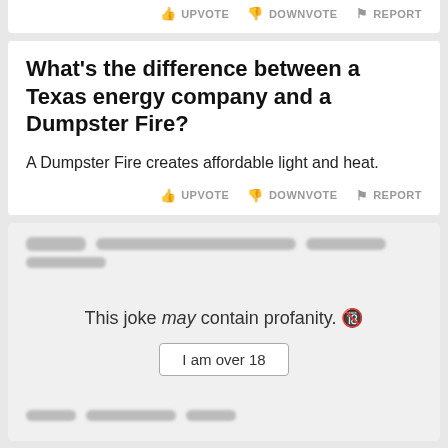UPVOTE  DOWNVOTE  REPORT
What's the difference between a Texas energy company and a Dumpster Fire?
A Dumpster Fire creates affordable light and heat.
UPVOTE  DOWNVOTE  REPORT
[Figure (screenshot): Adult content warning card with blurred text, showing 'This joke may contain profanity.' and an 'I am over 18' button]
Today I unfortunately got fired from my job